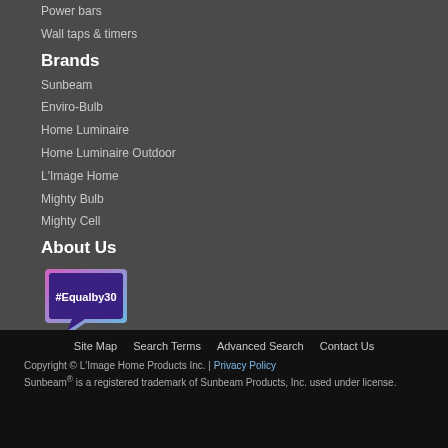Power bars
Wall taps & timers
Brands
Sunbeam
Enviro-Bulb
Home Luminaire
Home Luminaire Outdoor
L'Image Home
Mighty Bulb
Mighty Cell
About Us
[Figure (logo): #Equalby30 speech bubble badge logo with purple/pink gradient border]
Contact
Site Map   Search Terms   Advanced Search   Contact Us   Copyright © L'Image Home Products Inc. | Privacy Policy   Sunbeam® is a registered trademark of Sunbeam Products, Inc. used under license.